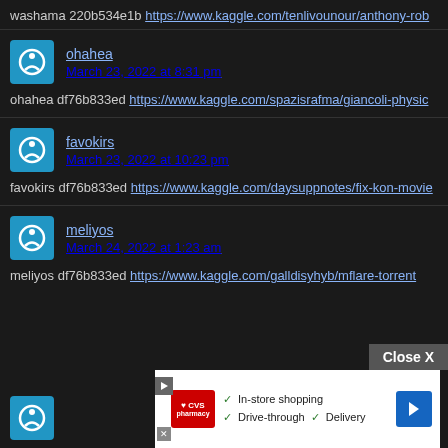washama 220b534e1b https://www.kaggle.com/tenlivounour/anthony-rob...
ohahea
March 23, 2022 at 8:31 pm
ohahea df76b833ed https://www.kaggle.com/spazisrafma/giancoli-physic...
favokirs
March 23, 2022 at 10:23 pm
favokirs df76b833ed https://www.kaggle.com/daysuppnotes/fix-kon-movie...
meliyos
March 24, 2022 at 1:23 am
meliyos df76b833ed https://www.kaggle.com/galldisyhyb/mflare-torrent
[Figure (screenshot): CVS Pharmacy advertisement banner with in-store shopping, drive-through, and delivery options]